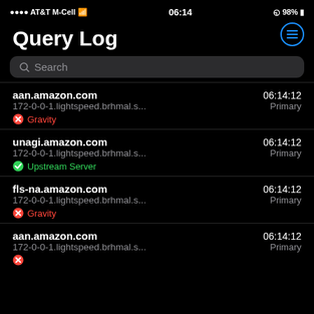AT&T M-Cell  06:14  98%
Query Log
aan.amazon.com  06:14:12  172-0-0-1.lightspeed.brhmal.s...  Primary  Gravity
unagi.amazon.com  06:14:12  172-0-0-1.lightspeed.brhmal.s...  Primary  Upstream Server
fls-na.amazon.com  06:14:12  172-0-0-1.lightspeed.brhmal.s...  Primary  Gravity
aan.amazon.com  06:14:12  172-0-0-1.lightspeed.brhmal.s...  Primary